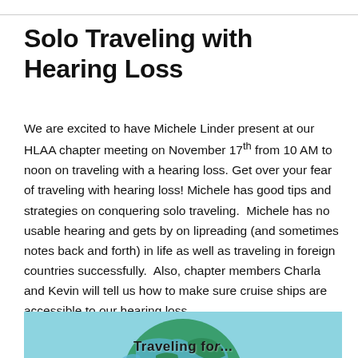Solo Traveling with Hearing Loss
We are excited to have Michele Linder present at our HLAA chapter meeting on November 17th from 10 AM to noon on traveling with a hearing loss. Get over your fear of traveling with hearing loss! Michele has good tips and strategies on conquering solo traveling.  Michele has no usable hearing and gets by on lipreading (and sometimes notes back and forth) in life as well as traveling in foreign countries successfully.  Also, chapter members Charla and Kevin will tell us how to make sure cruise ships are accessible to our hearing loss.
[Figure (illustration): Globe of the Earth with teal/blue background and partial text overlay at the bottom showing beginning of 'Traveling for...' or similar heading]